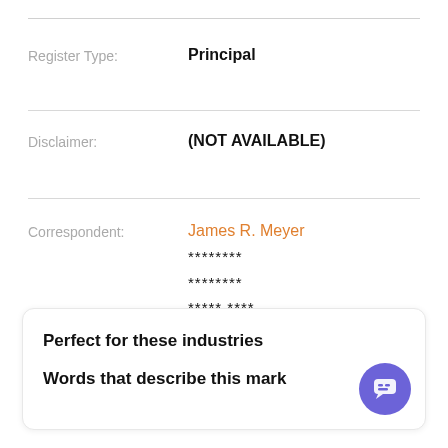Register Type: Principal
Disclaimer: (NOT AVAILABLE)
Correspondent: James R. Meyer ******** ******** ***** ****
Perfect for these industries
Words that describe this mark